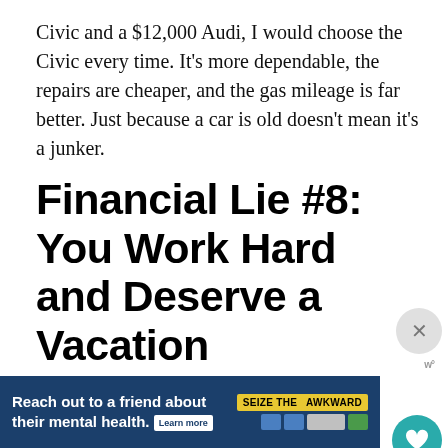Civic and a $12,000 Audi, I would choose the Civic every time. It’s more dependable, the repairs are cheaper, and the gas mileage is far better. Just because a car is old doesn’t mean it’s a junker.
Financial Lie #8: You Work Hard and Deserve a Vacation
Financial lies like these come at us often, but you know what? Just because you work hard and get tired from time to time doesn’t mean that you’re entitled to charge a vacation on your credit ca… That’s idiocy. You don’t take a vacation because…
[Figure (other): Advertisement banner: 'Reach out to a friend about their mental health. Learn more' with 'SEIZE THE AWKWARD' badge and mental health organization logos on dark blue background]